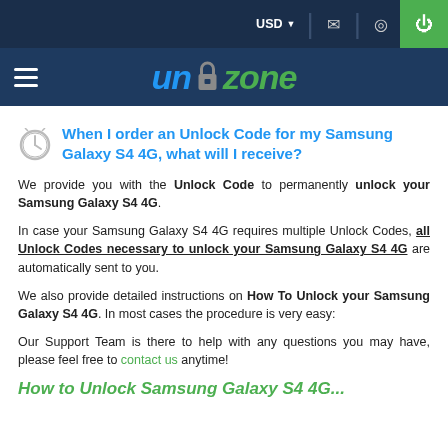USD | [mail icon] | [location icon] | [power icon]
[Figure (logo): Unlockzone logo with lock icon between 'un' in blue italic and 'zone' in green italic, hamburger menu on left, on dark blue background]
When I order an Unlock Code for my Samsung Galaxy S4 4G, what will I receive?
We provide you with the Unlock Code to permanently unlock your Samsung Galaxy S4 4G.
In case your Samsung Galaxy S4 4G requires multiple Unlock Codes, all Unlock Codes necessary to unlock your Samsung Galaxy S4 4G are automatically sent to you.
We also provide detailed instructions on How To Unlock your Samsung Galaxy S4 4G. In most cases the procedure is very easy:
Our Support Team is there to help with any questions you may have, please feel free to contact us anytime!
How to Unlock Samsung Galaxy S4 4G...